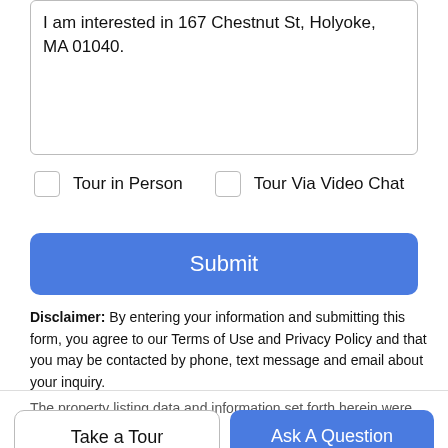I am interested in 167 Chestnut St, Holyoke, MA 01040.
Tour in Person
Tour Via Video Chat
Submit
Disclaimer: By entering your information and submitting this form, you agree to our Terms of Use and Privacy Policy and that you may be contacted by phone, text message and email about your inquiry.
The property listing data and information set forth herein were
Take a Tour
Ask A Question